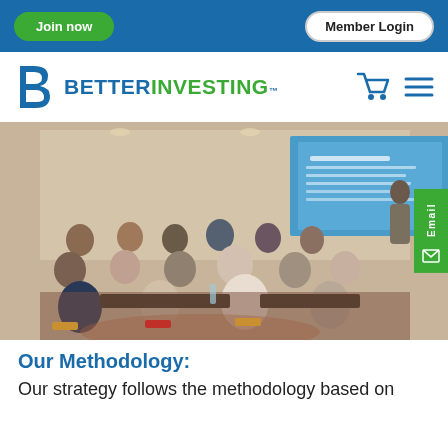Join now | Member Login
[Figure (logo): BetterInvesting logo with blue B icon and green/blue wordmark]
[Figure (photo): Conference room with audience seated at tables listening to a presenter at front with a blue projected slide screen]
Our Methodology:
Our strategy follows the methodology based on...